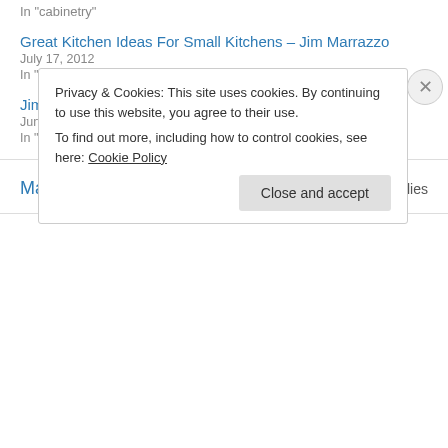In "cabinetry"
Great Kitchen Ideas For Small Kitchens – Jim Marrazzo
July 17, 2012
In "Designer Blog"
Jim Marrazzo: Indoor and Kitchen Herb Gardens
June 14, 2011
In "Designer Blog"
May 25, 2010
3 Replies
Privacy & Cookies: This site uses cookies. By continuing to use this website, you agree to their use.
To find out more, including how to control cookies, see here: Cookie Policy
Close and accept